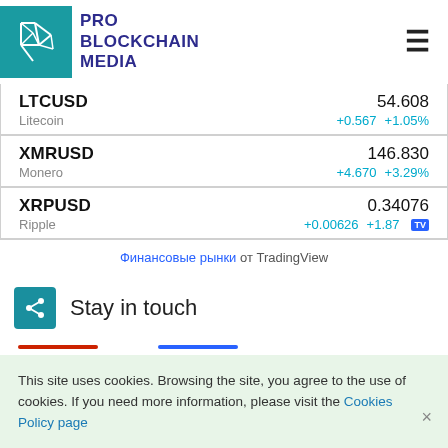[Figure (logo): Pro Blockchain Media logo with teal geometric icon and dark blue bold text]
| Symbol | Name | Price | Change | Change% |
| --- | --- | --- | --- | --- |
| LTCUSD | Litecoin | 54.608 | +0.567 | +1.05% |
| XMRUSD | Monero | 146.830 | +4.670 | +3.29% |
| XRPUSD | Ripple | 0.34076 | +0.00626 | +1.87 |
Финансовые рынки от TradingView
Stay in touch
This site uses cookies. Browsing the site, you agree to the use of cookies. If you need more information, please visit the Cookies Policy page